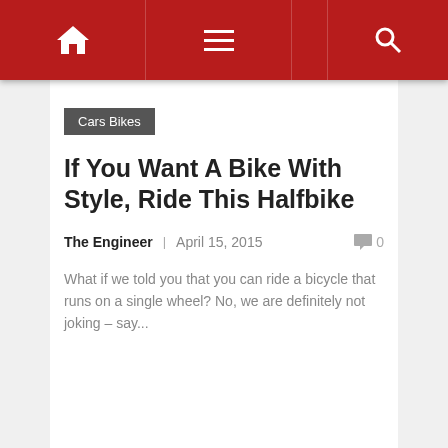Navigation bar with home icon, hamburger menu, and search icon
Cars Bikes
If You Want A Bike With Style, Ride This Halfbike
The Engineer   April 15, 2015   0
What if we told you that you can ride a bicycle that runs on a single wheel? No, we are definitely not joking – say...